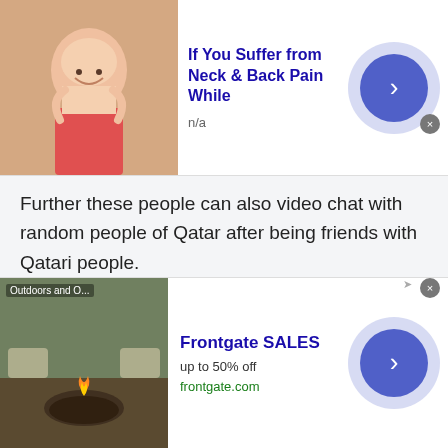[Figure (other): Top advertisement banner: image of elderly woman holding her neck, title 'If You Suffer from Neck & Back Pain While', subtitle 'n/a', with a blue arrow button circle]
Further these people can also video chat with random people of Qatar after being friends with Qatari people.
Stranger Chat:
Stranger chat is another thing that makes talkwithstranger stand out of the crowd. The stranger chat with people of Qatar is a type of a chatroom where you get to chat with a stranger who
[Figure (other): Bottom advertisement banner: image of outdoor fire pit/patio furniture, title 'Frontgate SALES', subtitle 'up to 50% off', URL 'frontgate.com', with a blue arrow button circle and close X]